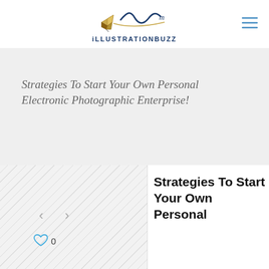iLLUSTRATIONBUZZ
Strategies To Start Your Own Personal Electronic Photographic Enterprise!
[Figure (screenshot): Thumbnail image strip with diagonal stripe pattern and left/right navigation arrows]
Strategies To Start Your Own Personal